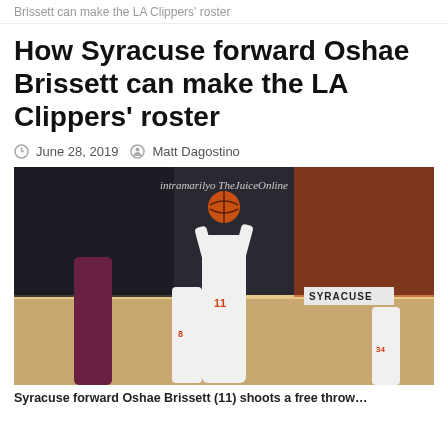Brissett can make the LA Clippers' roster
How Syracuse forward Oshae Brissett can make the LA Clippers' roster
June 28, 2019   Matt Dagostino
[Figure (photo): Syracuse forward Oshae Brissett (11) shooting a free throw during a basketball game, with opposing players and fans in the background. Watermark reads 'intramarilyo TheJuiceOnline'.]
Syracuse forward Oshae Brissett (11) shoots a free throw…